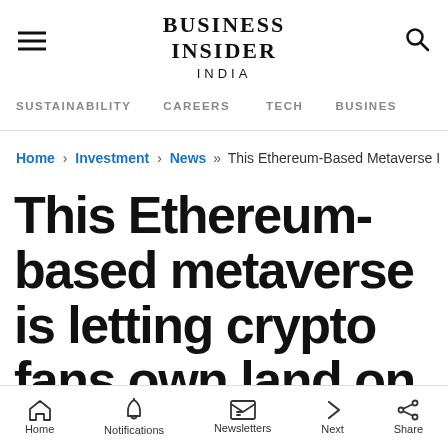BUSINESS INSIDER INDIA
SUSTAINABILITY   CAREERS   TECH   BUSINESS
Home › Investment › News »» This Ethereum-Based Metaverse Is
This Ethereum-based metaverse is letting crypto fans own land on the Red Planet, even though international space laws would
Home  Notifications  Newsletters  Next  Share